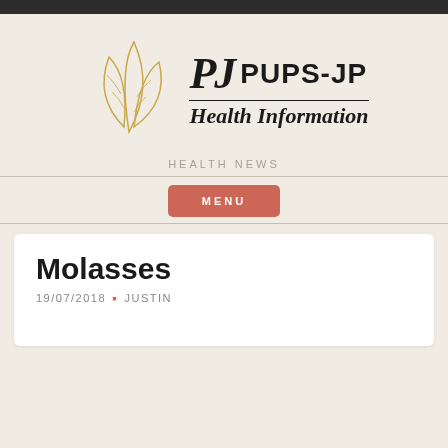[Figure (logo): PUPS-JP Health Information logo with golden leaf outline and stylized PJ lettermark]
HEALTH NEWS
MENU
Molasses
19/07/2018 • JUSTIN